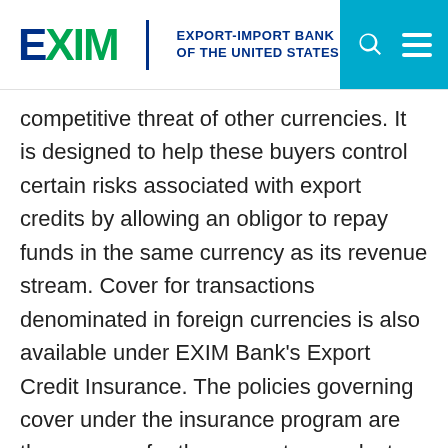EXIM EXPORT-IMPORT BANK OF THE UNITED STATES
competitive threat of other currencies. It is designed to help these buyers control certain risks associated with export credits by allowing an obligor to repay funds in the same currency as its revenue stream. Cover for transactions denominated in foreign currencies is also available under EXIM Bank's Export Credit Insurance. The policies governing cover under the insurance program are the same as for the guarantee product and are affected by endorsement to an insurance policy. To date, EXIM Bank has announced a willingness to issue